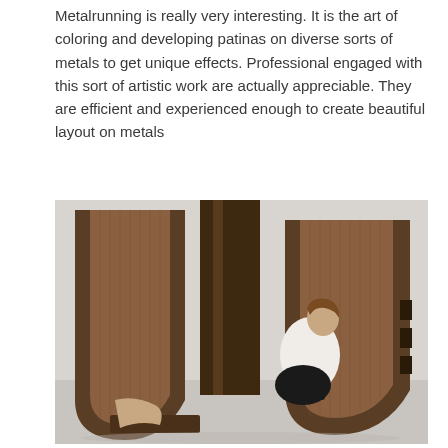Metalrunning is really very interesting. It is the art of coloring and developing patinas on diverse sorts of metals to get unique effects. Professional engaged with this sort of artistic work are actually appreciable. They are efficient and experienced enough to create beautiful layout on metals
[Figure (photo): A woman sitting inside a large sculptural wooden chair/furniture piece made of curved laminated wood panels forming a U-shape structure. The woman is wearing a white top and holding a black folder, with her feet resting on a wooden platform. The furniture has a dark walnut wood finish with visible wood grain laminations.]